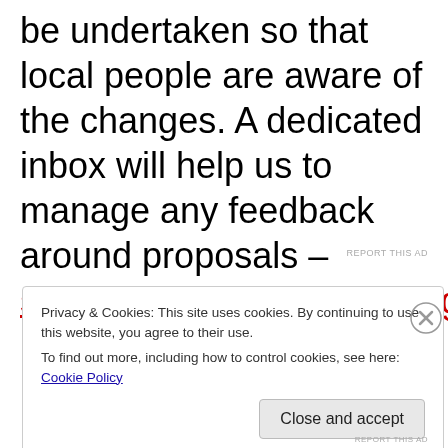be undertaken so that local people are aware of the changes. A dedicated inbox will help us to manage any feedback around proposals – spacesforpeople@edinburgh.gov.uk
Privacy & Cookies: This site uses cookies. By continuing to use this website, you agree to their use. To find out more, including how to control cookies, see here: Cookie Policy